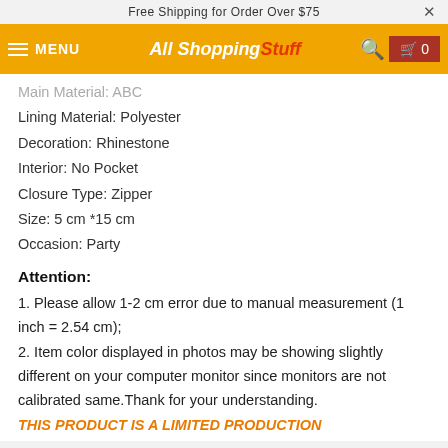Free Shipping for Order Over $75  ×
MENU  All Shopping Stuff  🔍  🛒 0
Main Material: ABS
Lining Material: Polyester
Decoration: Rhinestone
Interior: No Pocket
Closure Type: Zipper
Size: 5 cm *15 cm
Occasion: Party
Attention:
1. Please allow 1-2 cm error due to manual measurement (1 inch = 2.54 cm);
2. Item color displayed in photos may be showing slightly different on your computer monitor since monitors are not calibrated same.Thank for your understanding.
THIS PRODUCT IS A LIMITED PRODUCTION